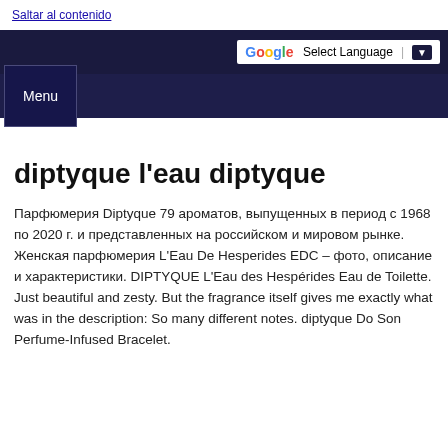Saltar al contenido
[Figure (screenshot): Top navigation bar with dark navy background containing Google Translate widget (Select Language) and a dropdown arrow]
Menu
diptyque l'eau diptyque
Парфюмерия Diptyque 79 ароматов, выпущенных в период с 1968 по 2020 г. и представленных на российском и мировом рынке. Женская парфюмерия L'Eau De Hesperides EDC – фото, описание и характеристики. DIPTYQUE L'Eau des Hespérides Eau de Toilette. Just beautiful and zesty. But the fragrance itself gives me exactly what was in the description: So many different notes. diptyque Do Son Perfume-Infused Bracelet.